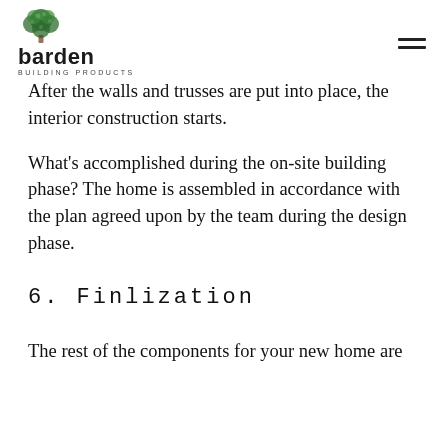barden BUILDING PRODUCTS
After the walls and trusses are put into place, the interior construction starts.
What's accomplished during the on-site building phase? The home is assembled in accordance with the plan agreed upon by the team during the design phase.
6. Finlization
The rest of the components for your new home are